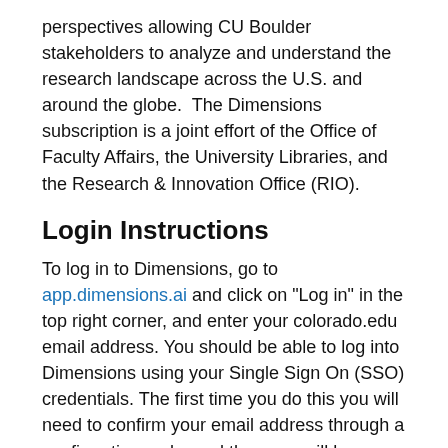perspectives allowing CU Boulder stakeholders to analyze and understand the research landscape across the U.S. and around the globe.  The Dimensions subscription is a joint effort of the Office of Faculty Affairs, the University Libraries, and the Research & Innovation Office (RIO).
Login Instructions
To log in to Dimensions, go to app.dimensions.ai and click on "Log in" in the top right corner, and enter your colorado.edu email address. You should be able to log into Dimensions using your Single Sign On (SSO) credentials. The first time you do this you will need to confirm your email address through a confirmation code, and then you will be asked to create an account. This will only happen the first time you log in.
Who to Contact for help?
For all CU Boulder stakeholders, contact the University